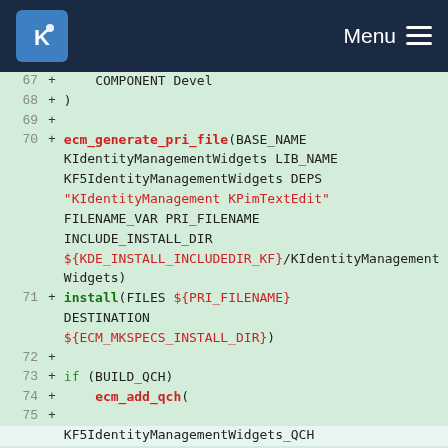KDE Menu
[Figure (screenshot): Code diff view showing CMakeLists.txt lines 67-76 with added lines (green +) on a KDE website interface. Lines include COMPONENT Devel, ), blank, ecm_generate_pri_file call with parameters, install call, blank, if (BUILD_QCH), ecm_add_qch(, blank, and KF5IdentityManagementWidgets_QCH NAME.]